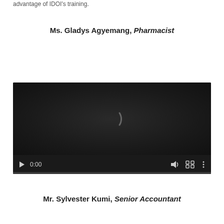advantage of IDOI's training.
Ms. Gladys Agyemang, Pharmacist
[Figure (screenshot): Embedded video player with dark background, showing a loading spinner arc, playback controls including play button, timestamp '0:00', volume icon, fullscreen icon, and options icon, with a progress bar at the bottom.]
Mr. Sylvester Kumi, Senior Accountant